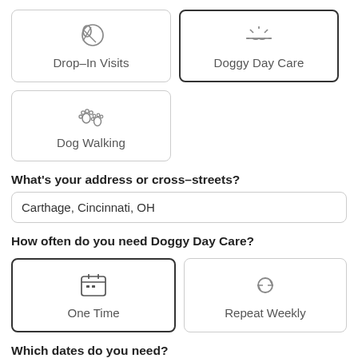[Figure (screenshot): Service type selector cards: Drop-In Visits (with paw/ball icon, unselected), Doggy Day Care (with sunrise icon, selected/highlighted border)]
[Figure (screenshot): Service type card: Dog Walking (with paw prints icon, unselected)]
What's your address or cross-streets?
Carthage, Cincinnati, OH
How often do you need Doggy Day Care?
[Figure (screenshot): Frequency selector cards: One Time (calendar icon, selected), Repeat Weekly (cycle arrows icon, unselected)]
Which dates do you need?
[Figure (screenshot): Date input fields: Start and End, each with calendar icon]